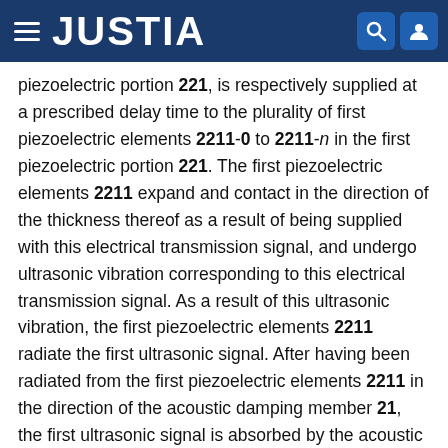JUSTIA
piezoelectric portion 221, is respectively supplied at a prescribed delay time to the plurality of first piezoelectric elements 2211-0 to 2211-n in the first piezoelectric portion 221. The first piezoelectric elements 2211 expand and contact in the direction of the thickness thereof as a result of being supplied with this electrical transmission signal, and undergo ultrasonic vibration corresponding to this electrical transmission signal. As a result of this ultrasonic vibration, the first piezoelectric elements 2211 radiate the first ultrasonic signal. After having been radiated from the first piezoelectric elements 2211 in the direction of the acoustic damping member 21, the first ultrasonic signal is absorbed by the acoustic damping member 21. In addition, after having been radiated from the first piezoelectric elements 2211 in the direction of the acoustic matching layer 23, the first ultrasonic signal